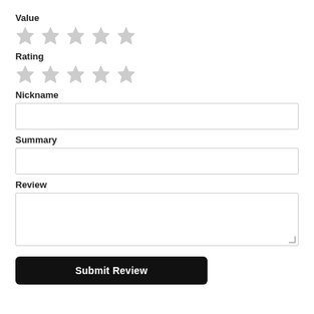Value
[Figure (other): Five empty star icons for Value rating]
Rating
[Figure (other): Five empty star icons for Rating]
Nickname
[Figure (other): Empty text input box for Nickname]
Summary
[Figure (other): Empty text input box for Summary]
Review
[Figure (other): Empty textarea for Review with resize handle]
Submit Review